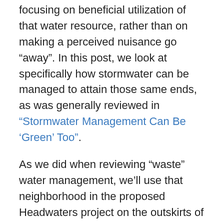focusing on beneficial utilization of that water resource, rather than on making a perceived nuisance go “away”. In this post, we look at specifically how stormwater can be managed to attain those same ends, as was generally reviewed in “Stormwater Management Can Be ‘Green’ Too”.
As we did when reviewing “waste” water management, we’ll use that neighborhood in the proposed Headwaters project on the outskirts of Dripping Springs as an example of how we might husband the stormwater resource. A Low-
Privacy & Cookies: This site uses cookies. By continuing to use this website, you agree to their use.
To find out more, including how to control cookies, see here: Cookie Policy
rainwater on the land as would have infiltrated on this site